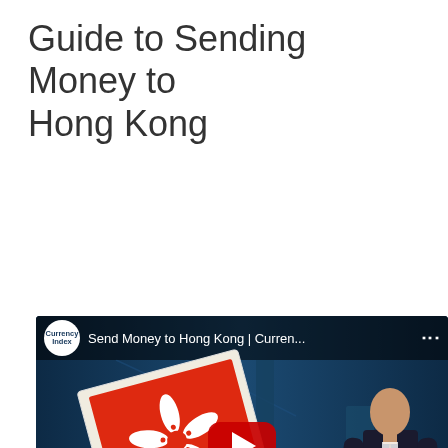Guide to Sending Money to Hong Kong
[Figure (screenshot): YouTube video thumbnail showing a Currency Index video titled 'Send Money to Hong Kong | Curren...' with a Hong Kong flag, a YouTube play button, text 'Sending Hong Kong [Dollars] from the UK', a presenter in a suit, and a Robin Currency Index badge in the bottom right corner.]